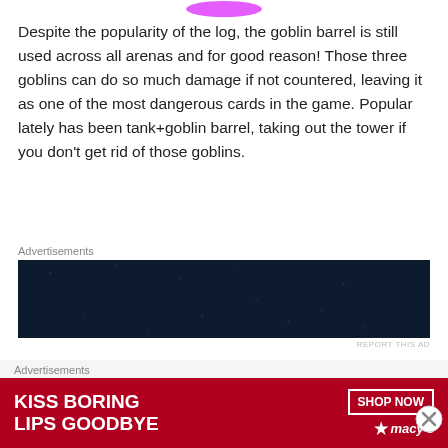[Figure (illustration): Partial pink/purple icon visible at top center of page]
Despite the popularity of the log, the goblin barrel is still used across all arenas and for good reason! Those three goblins can do so much damage if not countered, leaving it as one of the most dangerous cards in the game. Popular lately has been tank+goblin barrel, taking out the tower if you don't get rid of those goblins.
Advertisements
[Figure (screenshot): Advertisement banner: 'Create surveys, polls, quizzes, and forms.' on dark navy background with WordPress logo and right circular logo]
REPORT THIS AD
#8- Poison
[Figure (illustration): Partial purple/pink game card icon at bottom]
Advertisements
[Figure (screenshot): Macy's advertisement: 'KISS BORING LIPS GOODBYE' with SHOP NOW button and Macy's star logo]